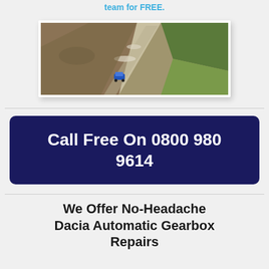team for FREE.
[Figure (photo): Aerial or elevated view of a car driving on a narrow dirt/gravel road through hilly terrain with brown and green landscape.]
Call Free On 0800 980 9614
We Offer No-Headache Dacia Automatic Gearbox Repairs